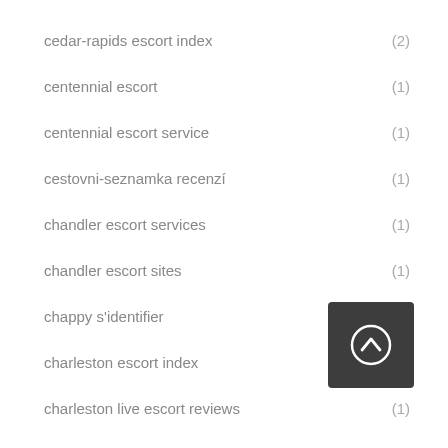cedar-rapids escort index (2)
centennial escort (1)
centennial escort service (1)
cestovni-seznamka recenzí (1)
chandler escort services (1)
chandler escort sites (1)
chappy s'identifier (1)
charleston escort index
charleston live escort reviews (1)